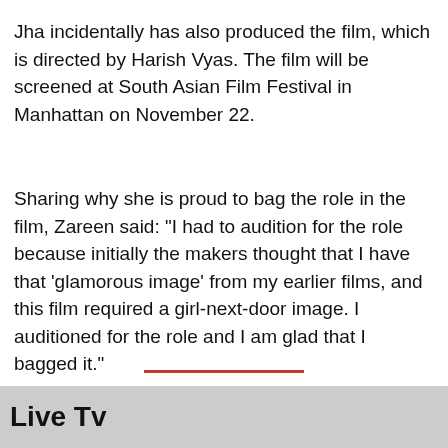Jha incidentally has also produced the film, which is directed by Harish Vyas. The film will be screened at South Asian Film Festival in Manhattan on November 22.
Sharing why she is proud to bag the role in the film, Zareen said: "I had to audition for the role because initially the makers thought that I have that 'glamorous image' from my earlier films, and this film required a girl-next-door image. I auditioned for the role and I am glad that I bagged it."
[Figure (other): Read in App button (red pill-shaped) and two side buttons: WhatsApp (green) and Share (dark gray)]
Live Tv